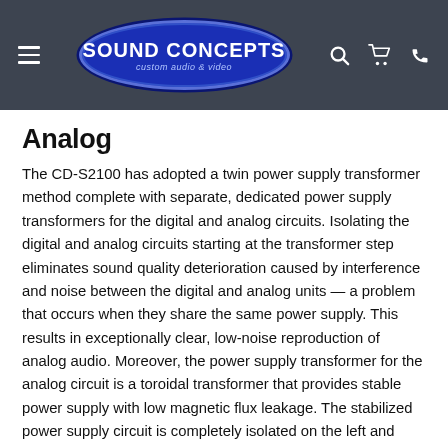Sound Concepts — custom audio & video
Analog
The CD-S2100 has adopted a twin power supply transformer method complete with separate, dedicated power supply transformers for the digital and analog circuits. Isolating the digital and analog circuits starting at the transformer step eliminates sound quality deterioration caused by interference and noise between the digital and analog units — a problem that occurs when they share the same power supply. This results in exceptionally clear, low-noise reproduction of analog audio. Moreover, the power supply transformer for the analog circuit is a toroidal transformer that provides stable power supply with low magnetic flux leakage. The stabilized power supply circuit is completely isolated on the left and right sides. This